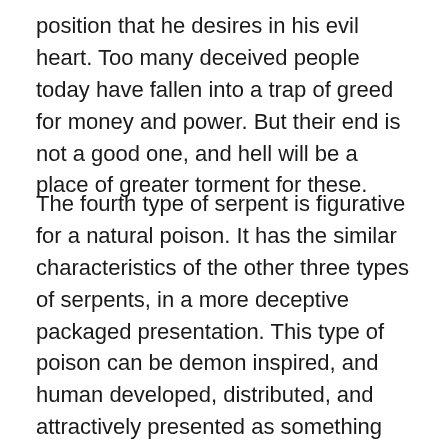position that he desires in his evil heart. Too many deceived people today have fallen into a trap of greed for money and power. But their end is not a good one, and hell will be a place of greater torment for these.
The fourth type of serpent is figurative for a natural poison. It has the similar characteristics of the other three types of serpents, in a more deceptive packaged presentation. This type of poison can be demon inspired, and human developed, distributed, and attractively presented as something good, and beneficial for life. It can be even praised, and worshipped by many. To those that are deceived by the false prophet narratives, it can be easily given out for free, and eagerly and willingly desired to be taken. But to others that can see what is happening, it can be forced upon them with threats of losing some essential modern necessity of survival.